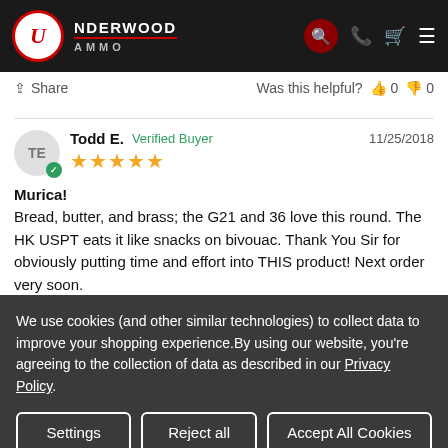Underwood Ammo
Share   Was this helpful?  0  0
Todd E.  Verified Buyer  11/25/2018
★★★★★
Murica!
Bread, butter, and brass; the G21 and 36 love this round. The HK USPT eats it like snacks on bivouac. Thank You Sir for obviously putting time and effort into THIS product! Next order very soon.
We use cookies (and other similar technologies) to collect data to improve your shopping experience.By using our website, you're agreeing to the collection of data as described in our Privacy Policy.